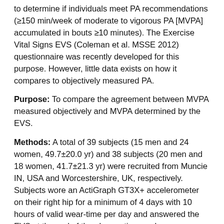to determine if individuals meet PA recommendations (≥150 min/week of moderate to vigorous PA [MVPA] accumulated in bouts ≥10 minutes). The Exercise Vital Signs EVS (Coleman et al. MSSE 2012) questionnaire was recently developed for this purpose. However, little data exists on how it compares to objectively measured PA.
Purpose: To compare the agreement between MVPA measured objectively and MVPA determined by the EVS.
Methods: A total of 39 subjects (15 men and 24 women, 49.7±20.0 yr) and 38 subjects (20 men and 18 women, 41.7±21.3 yr) were recruited from Muncie IN, USA and Worcestershire, UK, respectively. Subjects wore an ActiGraph GT3X+ accelerometer on their right hip for a minimum of 4 days with 10 hours of valid wear-time per day and answered the EVS at the end of the observation week. Accelerometers were initialized in ActiLife v6.8.0 using 60Hz sampling rates and processed using 60 second epoch. Total MVPA time and MVPA accumulated in bouts of ≥10 minutes were quantified by applying Sasaki et al. (2011) cutpoints (≥2690 activity counts).